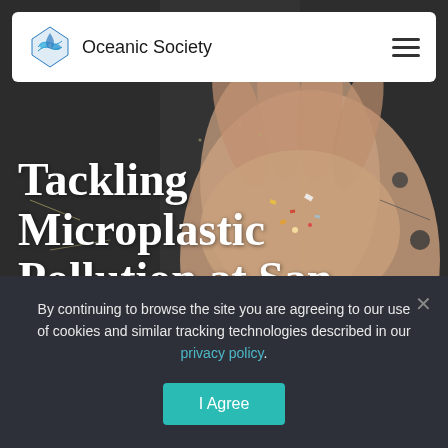[Figure (screenshot): Oceanic Society website header/hero section screenshot showing a photo of a hand holding microplastics on a beach background, with the title 'Tackling Microplastic Pollution at San Francisco's Ocean Beach' overlaid in white serif font, and a navigation bar with the Oceanic Society logo at the top.]
Oceanic Society
Tackling Microplastic Pollution at San Francisco's Ocean Beach
Home / Blog / Tackling Microplastic Pollution at San Francisco's
By continuing to browse the site you are agreeing to our use of cookies and similar tracking technologies described in our privacy policy.
I Agree